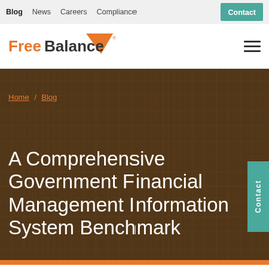Blog  News  Careers  Compliance  Contact
[Figure (logo): FreeBalance logo with orange triangle and text, with hamburger menu icon on right]
Home / Blog
A Comprehensive Government Financial Management Information System Benchmark